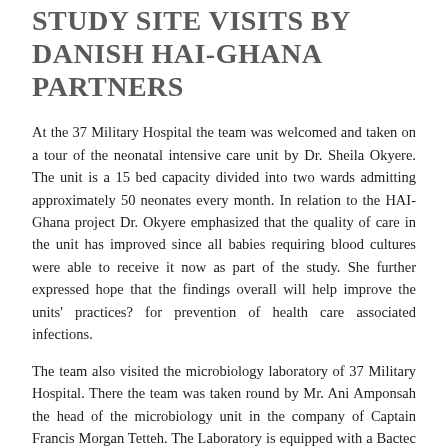STUDY SITE VISITS BY DANISH HAI-GHANA PARTNERS
At the 37 Military Hospital the team was welcomed and taken on a tour of the neonatal intensive care unit by Dr. Sheila Okyere. The unit is a 15 bed capacity divided into two wards admitting approximately 50 neonates every month. In relation to the HAI-Ghana project Dr. Okyere emphasized that the quality of care in the unit has improved since all babies requiring blood cultures were able to receive it now as part of the study. She further expressed hope that the findings overall will help improve the units' practices? for prevention of health care associated infections.
The team also visited the microbiology laboratory of 37 Military Hospital. There the team was taken round by Mr. Ani Amponsah the head of the microbiology unit in the company of Captain Francis Morgan Tetteh. The Laboratory is equipped with a Bactec Fx blood culture system as well as BD Phoenix automated identification and antibiotic susceptibility testing system.
At the neonatal intensive care unit of the Korle-Bu Teaching hospital the team was taken around the facility by Professor Christabel Enweronu-Laryea (neonatologist and a co-supervisor on the neonatal sepsis work package). The unit is a 55 bed unit, divided into 3 main cubicles and a 5